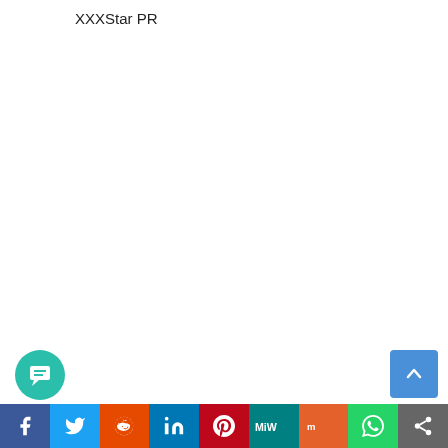XXXStar PR
[Figure (infographic): Social sharing bar at the bottom with icons for Facebook, Twitter, Reddit, LinkedIn, Pinterest, MixedWars, Mix, WhatsApp, and Share. A comment count badge showing 2 is above a teal chat icon on the lower left. A blue scroll-to-top button is on the lower right.]